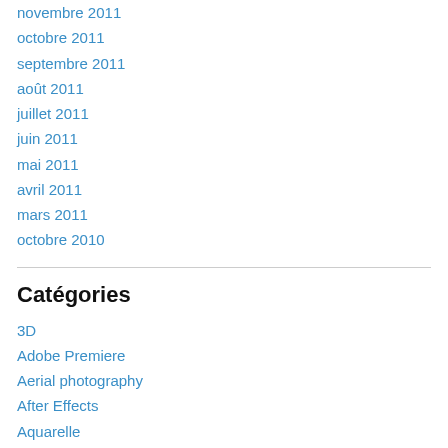novembre 2011
octobre 2011
septembre 2011
août 2011
juillet 2011
juin 2011
mai 2011
avril 2011
mars 2011
octobre 2010
Catégories
3D
Adobe Premiere
Aerial photography
After Effects
Aquarelle
Art